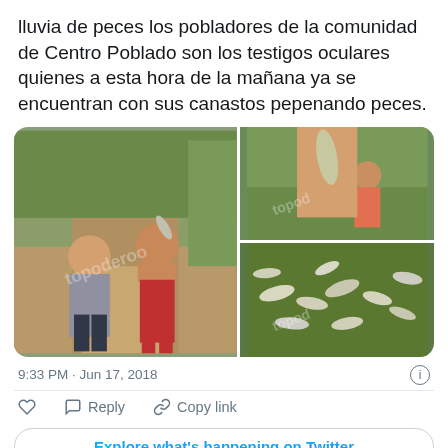lluvia de peces los pobladores de la comunidad de Centro Poblado son los testigos oculares quienes a esta hora de la mañana ya se encuentran con sus canastos pepenando peces.
[Figure (photo): Photo collage of three images: left shows a woman and shirtless man holding fish on a dirt road; top right shows a hand holding a small fish with a child in background; bottom right shows many small fish on green grass. Photos have watermark text overlay.]
9:33 PM · Jun 17, 2018
Reply   Copy link
Explore what's happening on Twitter